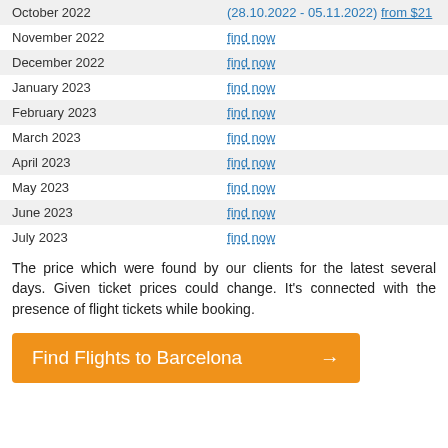| Month | Action |
| --- | --- |
| October 2022 | (28.10.2022 - 05.11.2022) from $21 |
| November 2022 | find now |
| December 2022 | find now |
| January 2023 | find now |
| February 2023 | find now |
| March 2023 | find now |
| April 2023 | find now |
| May 2023 | find now |
| June 2023 | find now |
| July 2023 | find now |
The price which were found by our clients for the latest several days. Given ticket prices could change. It's connected with the presence of flight tickets while booking.
Find Flights to Barcelona →